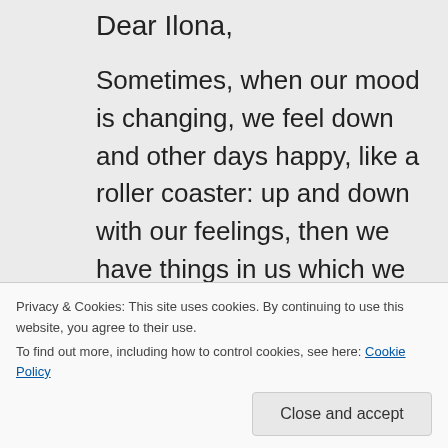Dear Ilona,
Sometimes, when our mood is changing, we feel down and other days happy, like a roller coaster: up and down with our feelings, then we have things in us which we have not worked out properly, then our thoughts often drift back to the past,
Privacy & Cookies: This site uses cookies. By continuing to use this website, you agree to their use. To find out more, including how to control cookies, see here: Cookie Policy
Close and accept
however, it is good, if this is